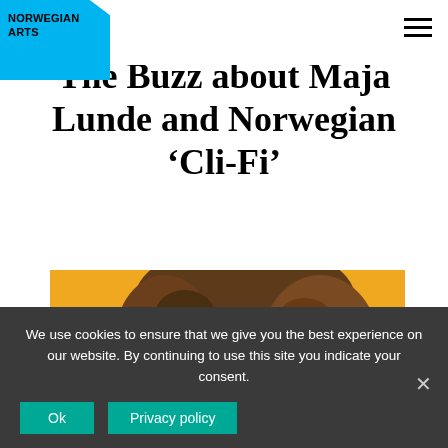NORWEGIAN ARTS
The Buzz about Maja Lunde and Norwegian ‘Cli-Fi’
[Figure (photo): Young woman with curly hair against a yellow/orange background]
We use cookies to ensure that we give you the best experience on our website. By continuing to use this site you indicate your consent.
Ok   Privacy policy